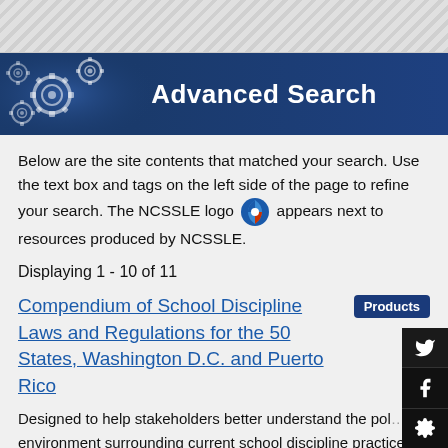[Figure (illustration): Diagonal hatching stripe at top of page]
[Figure (illustration): Advanced Search banner with gear icons on dark navy blue background]
Advanced Search
Below are the site contents that matched your search. Use the text box and tags on the left side of the page to refine your search. The NCSSLE logo appears next to resources produced by NCSSLE.
Displaying 1 - 10 of 11
Compendium of School Discipline Laws and Regulations for the 50 States, Washington D.C. and Puerto Rico
Products
Designed to help stakeholders better understand the policy environment surrounding current school discipline practices in our country. This compendium provides information on school discipline laws and administrative